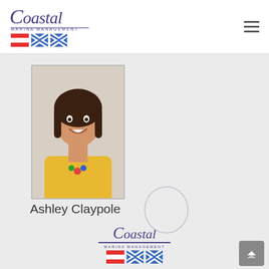[Figure (logo): Coastal Marina Management logo with nautical flags]
[Figure (photo): Headshot photo of Ashley Claypole, a woman with brown hair, smiling, wearing a yellow top]
Ashley Claypole
[Figure (logo): Coastal Marina Management logo centered with nautical flags]
Office: (850) 233-1633
Fax: (850) 233-3880
Accessibility
Copyright ©2016-2022 - Coastal Marina